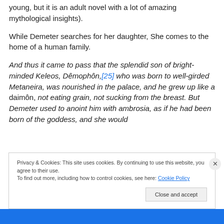young, but it is an adult novel with a lot of amazing mythological insights).
While Demeter searches for her daughter, She comes to the home of a human family.
And thus it came to pass that the splendid son of bright-minded Keleos, Dêmophôn,[25] who was born to well-girded Metaneira, was nourished in the palace, and he grew up like a daimôn, not eating grain, not sucking from the breast. But Demeter used to anoint him with ambrosia, as if he had been born of the goddess, and she would
Privacy & Cookies: This site uses cookies. By continuing to use this website, you agree to their use.
To find out more, including how to control cookies, see here: Cookie Policy